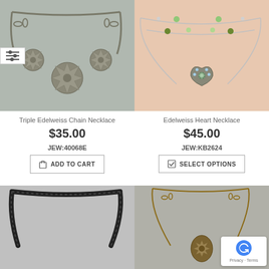[Figure (photo): Triple Edelweiss Chain Necklace product photo on gray background with filter icon overlay]
[Figure (photo): Edelweiss Heart Necklace worn on neck, silver wire necklace with green beads and heart pendant]
Triple Edelweiss Chain Necklace
$35.00
JEW:40068E
ADD TO CART
Edelweiss Heart Necklace
$45.00
JEW:KB2624
SELECT OPTIONS
[Figure (photo): Black leather cord necklace on gray background]
[Figure (photo): Antique bronze edelweiss pendant necklace on gray background with reCAPTCHA badge overlay]